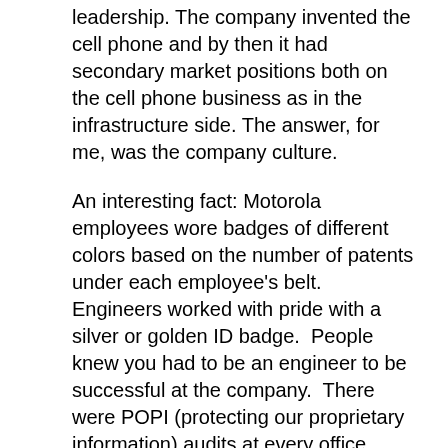leadership. The company invented the cell phone and by then it had secondary market positions both on the cell phone business as in the infrastructure side. The answer, for me, was the company culture.
An interesting fact: Motorola employees wore badges of different colors based on the number of patents under each employee's belt.  Engineers worked with pride with a silver or golden ID badge.  People knew you had to be an engineer to be successful at the company.  There were POPI (protecting our proprietary information) audits at every office ensuring nothing as trivial as an org chart or was left at your desk.
As much as Motorola excelled at creating products, it failed at bringing them to market.  I saw tons of technologies that should have been successful like the Canopy broad-range internet access network. But most of them failed because somehow the company...